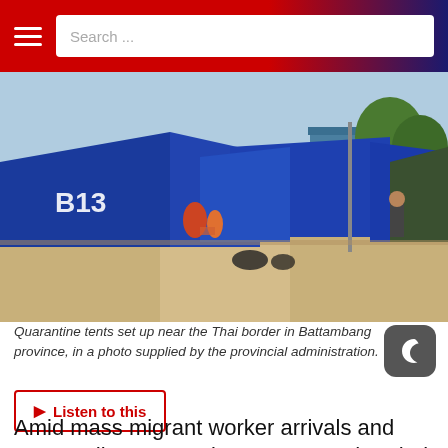Search ...
[Figure (photo): Quarantine tents set up near the Thai border in Battambang province, with blue tarps labeled B13, sandy ground, and a building visible in the background.]
Quarantine tents set up near the Thai border in Battambang province, in a photo supplied by the provincial administration.
▶ Listen to this
Amid mass migrant worker arrivals and surrounding quarantine centers at the Thai and